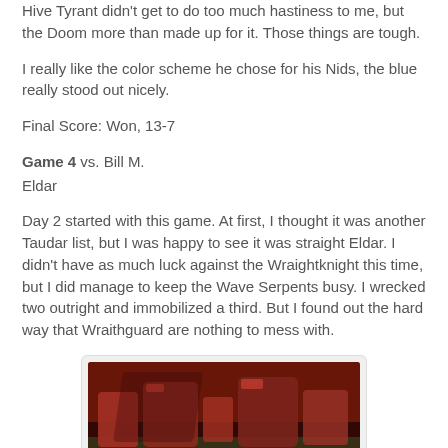Hive Tyrant didn't get to do too much hastiness to me, but the Doom more than made up for it. Those things are tough.
I really like the color scheme he chose for his Nids, the blue really stood out nicely.
Final Score: Won, 13-7
Game 4 vs. Bill M.
Eldar
Day 2 started with this game. At first, I thought it was another Taudar list, but I was happy to see it was straight Eldar. I didn't have as much luck against the Wraightknight this time, but I did manage to keep the Wave Serpents busy. I wrecked two outright and immobilized a third. But I found out the hard way that Wraithguard are nothing to mess with.
[Figure (photo): Photo of red Eldar miniatures (Wave Serpents and other models) on a gaming table]